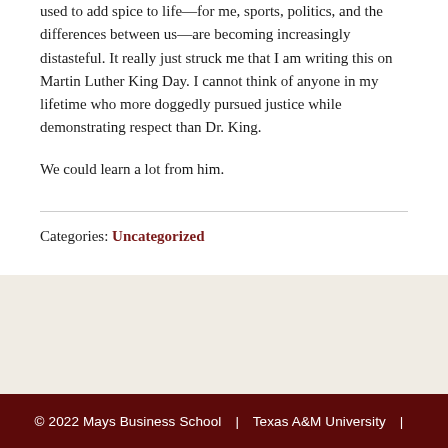used to add spice to life—for me, sports, politics, and the differences between us—are becoming increasingly distasteful. It really just struck me that I am writing this on Martin Luther King Day. I cannot think of anyone in my lifetime who more doggedly pursued justice while demonstrating respect than Dr. King.
We could learn a lot from him.
Categories: Uncategorized
© 2022 Mays Business School | Texas A&M University |